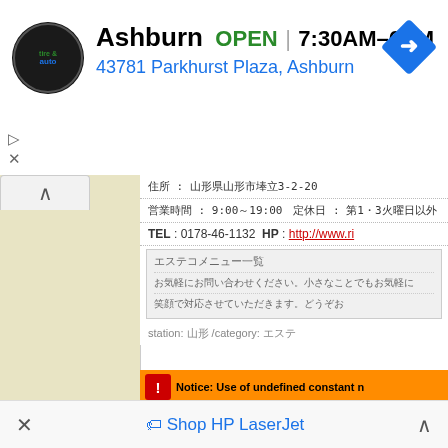[Figure (screenshot): Ad banner showing Virginia Tire & Auto, Ashburn location. OPEN 7:30AM–6PM. Address: 43781 Parkhurst Plaza, Ashburn. Blue navigation arrow icon on right.]
[Figure (screenshot): Map panel showing beige/tan map area on left side with up arrow tab. Right side shows Japanese text info panel with address, hours, TEL: 0178-46-1132, HP link, and station/category info.]
[Figure (screenshot): PHP error notice: Use of undefined constant n. Path: /home/users/2/allnavi/web/esthe/php/info_st... Call Stack table with columns #, Time, Memory, Function. Row 1: 1, 0.0002, 227064, {main}(). Row 2 partially visible with include(.]
[Figure (screenshot): Bottom ad bar showing X close button, Shop HP LaserJet text with tag icon, and up chevron.]